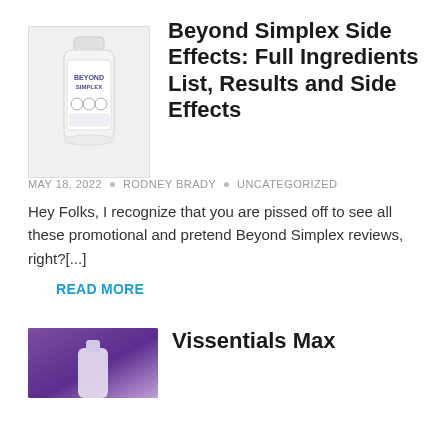[Figure (photo): Product bottle of Beyond Simplex supplement, white bottle with label]
Beyond Simplex Side Effects: Full Ingredients List, Results and Side Effects
MAY 18, 2022 • RODNEY BRADY • UNCATEGORIZED
Hey Folks, I recognize that you are pissed off to see all these promotional and pretend Beyond Simplex reviews, right?[...]
READ MORE
[Figure (photo): Product image with purple gradient background for Vissentials Max]
Vissentials Max